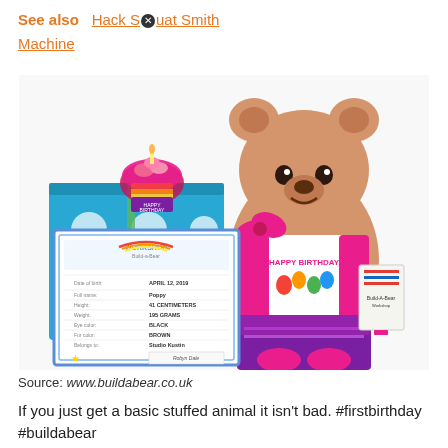See also  Hack S✕uat Smith Machine
[Figure (photo): A Build-A-Bear Workshop birthday teddy bear set with a blue polka-dot gift box, a cupcake plush with candle, a bear wearing a Happy Birthday shirt and sparkly skirt, and a Build-A-Bear Workshop birth certificate.]
Source: www.buildabear.co.uk
If you just get a basic stuffed animal it isn't bad. #firstbirthday #buildabear #momhacks #buildabearworkshop